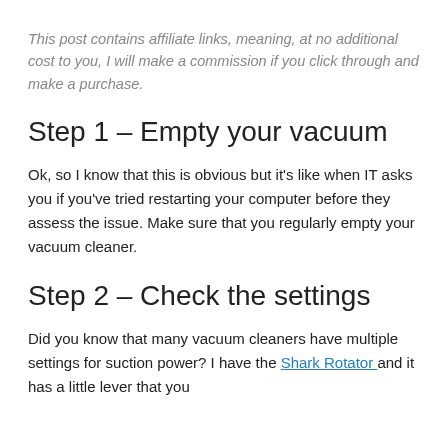This post contains affiliate links, meaning, at no additional cost to you, I will make a commission if you click through and make a purchase.
Step 1 – Empty your vacuum
Ok, so I know that this is obvious but it's like when IT asks you if you've tried restarting your computer before they assess the issue.  Make sure that you regularly empty your vacuum cleaner.
Step 2 – Check the settings
Did you know that many vacuum cleaners have multiple settings for suction power?  I have the Shark Rotator  and it has a little lever that you